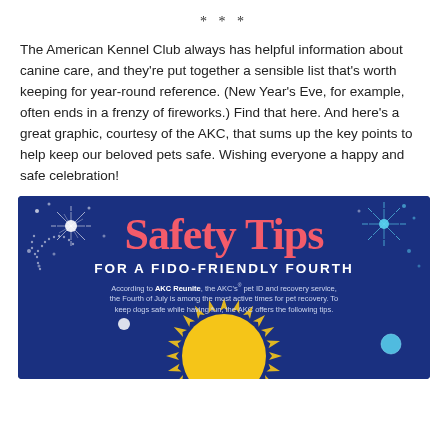* * *
The American Kennel Club always has helpful information about canine care, and they're put together a sensible list that's worth keeping for year-round reference. (New Year's Eve, for example, often ends in a frenzy of fireworks.) Find that here. And here's a great graphic, courtesy of the AKC, that sums up the key points to help keep our beloved pets safe. Wishing everyone a happy and safe celebration!
[Figure (infographic): AKC infographic titled 'Safety Tips FOR A FIDO-FRIENDLY FOURTH' on a dark navy blue background with fireworks decorations and a yellow sun at the bottom. Text reads: According to AKC Reunite, the AKC's pet ID and recovery service, the Fourth of July is among the most active times for pet recovery. To keep dogs safe while having fun, the AKC offers the following tips.]